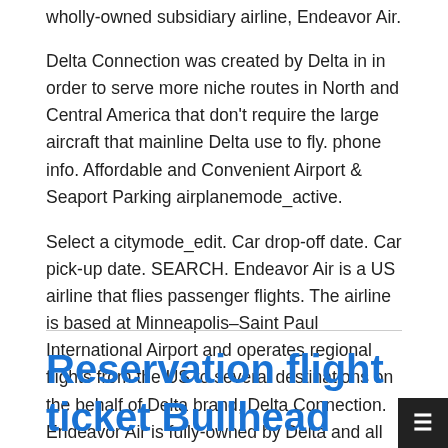wholly-owned subsidiary airline, Endeavor Air.
Delta Connection was created by Delta in in order to serve more niche routes in North and Central America that don't require the large aircraft that mainline Delta use to fly. phone info. Affordable and Convenient Airport & Seaport Parking airplanemode_active.
Select a citymode_edit. Car drop-off date. Car pick-up date. SEARCH. Endeavor Air is a US airline that flies passenger flights. The airline is based at Minneapolis–Saint Paul International Airport and operates regional flights from the US to several destinations on the behalf of Delta brand, Delta Connection. Endeavor Air is fully-owned by Delta and all Endeavor flights are operated under the Delta Connection.
Reservation flight ticket Bullhead City IFP - Butte BTM by phone Cancellation airlin ticket from Columbus CSG